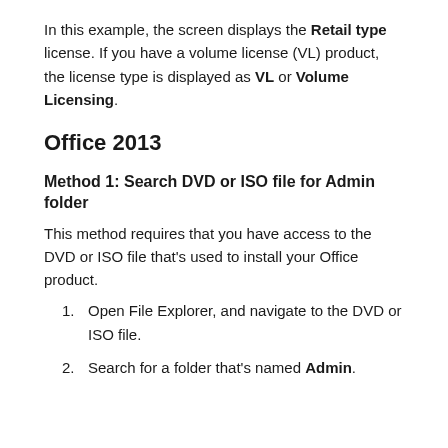In this example, the screen displays the Retail type license. If you have a volume license (VL) product, the license type is displayed as VL or Volume Licensing.
Office 2013
Method 1: Search DVD or ISO file for Admin folder
This method requires that you have access to the DVD or ISO file that's used to install your Office product.
1. Open File Explorer, and navigate to the DVD or ISO file.
2. Search for a folder that's named Admin.